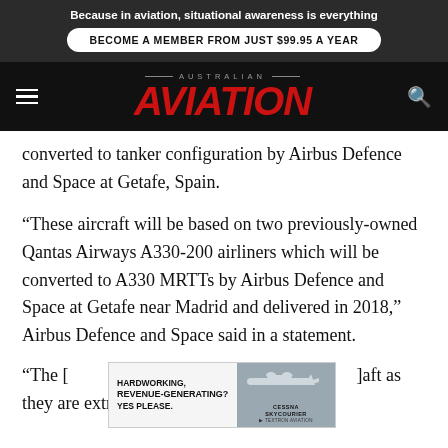Because in aviation, situational awareness is everything
BECOME A MEMBER FROM JUST $99.95 A YEAR
AUSTRALIAN AVIATION
converted to tanker configuration by Airbus Defence and Space at Getafe, Spain.
“These aircraft will be based on two previously-owned Qantas Airways A330-200 airliners which will be converted to A330 MRTTs by Airbus Defence and Space at Getafe near Madrid and delivered in 2018,” Airbus Defence and Space said in a statement.
[Figure (infographic): Inline advertisement: HARDWORKING, REVENUE-GENERATING? YES PLEASE. Cessna SkyCourier aircraft image with Textron Aviation logo.]
“The [aircraft] aft as they are extremely close to the same basic